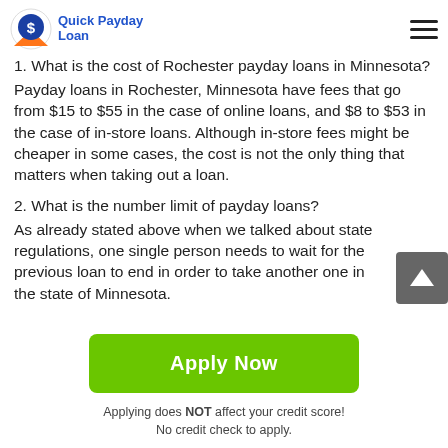Quick Payday Loan
1. What is the cost of Rochester payday loans in Minnesota?
Payday loans in Rochester, Minnesota have fees that go from $15 to $55 in the case of online loans, and $8 to $53 in the case of in-store loans. Although in-store fees might be cheaper in some cases, the cost is not the only thing that matters when taking out a loan.
2. What is the number limit of payday loans?
As already stated above when we talked about state regulations, one single person needs to wait for the previous loan to end in order to take another one in the state of Minnesota.
Apply Now
Applying does NOT affect your credit score!
No credit check to apply.